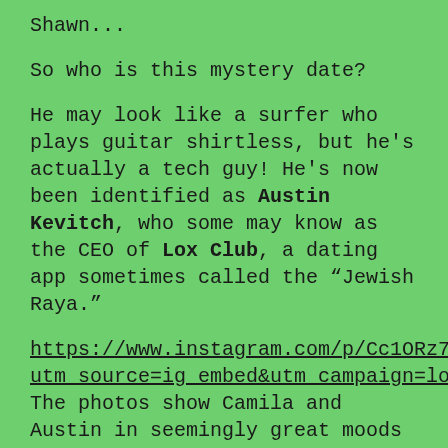Shawn...
So who is this mystery date?
He may look like a surfer who plays guitar shirtless, but he's actually a tech guy! He's now been identified as Austin Kevitch, who some may know as the CEO of Lox Club, a dating app sometimes called the “Jewish Raya.”
https://www.instagram.com/p/Cc1ORz7vNX3/?utm_source=ig_embed&utm_campaign=loading The photos show Camila and Austin in seemingly great moods as they get in their steps for the day. Camila, who was fitted in an off-the-shoulder white blouse, distressed jeans, and white sneakers, appears to be unable to take her eyes off Austin, who was wearing a black shirt, baggy khakis, white sneakers, and a grey hoodie which he nonchalantly